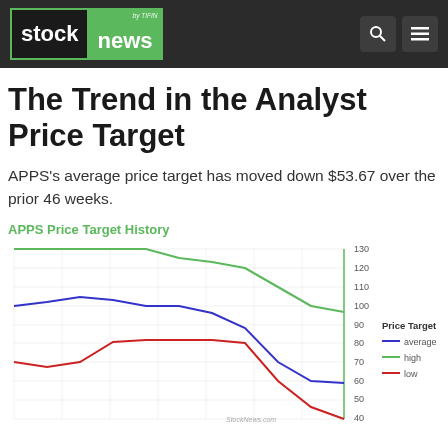stock news by TIFIN
The Trend in the Analyst Price Target
APPS's average price target has moved down $53.67 over the prior 46 weeks.
APPS Price Target History
[Figure (line-chart): APPS Price Target History]